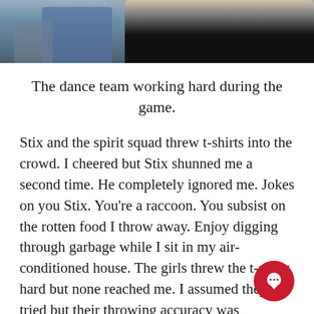[Figure (photo): Cropped photo showing people seated at a sports event, wearing dark clothing, with stadium seating visible in blue]
The dance team working hard during the game.
Stix and the spirit squad threw t-shirts into the crowd. I cheered but Stix shunned me a second time. He completely ignored me. Jokes on you Stix. You're a raccoon. You subsist on the rotten food I throw away. Enjoy digging through garbage while I sit in my air-conditioned house. The girls threw the t-shirts hard but none reached me. I assumed they tried but their throwing accuracy was